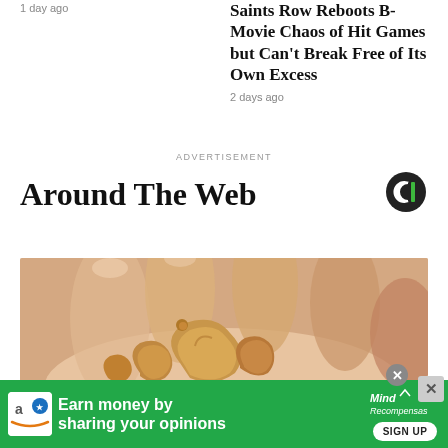1 day ago
Saints Row Reboots B-Movie Chaos of Hit Games but Can't Break Free of Its Own Excess
2 days ago
ADVERTISEMENT
Around The Web
[Figure (photo): A hand holding several cashew nuts, close-up photo]
[Figure (other): Green advertisement banner: 'Earn money by sharing your opinions' with Amazon icon and MindRecompensas branding and SIGN UP button]